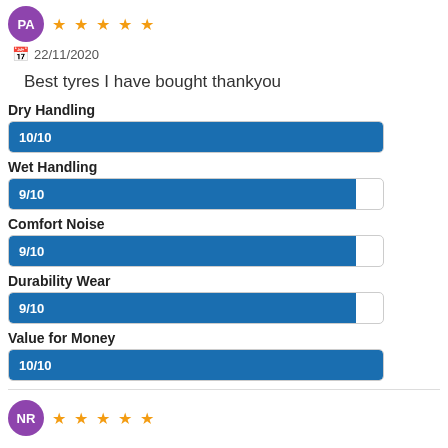[Figure (other): Purple avatar circle with initials PA and 5 orange stars]
22/11/2020
Best tyres I have bought thankyou
[Figure (bar-chart): Dry Handling]
[Figure (bar-chart): Wet Handling]
[Figure (bar-chart): Comfort Noise]
[Figure (bar-chart): Durability Wear]
[Figure (bar-chart): Value for Money]
[Figure (other): Purple avatar circle with initials NR and 5 orange stars]